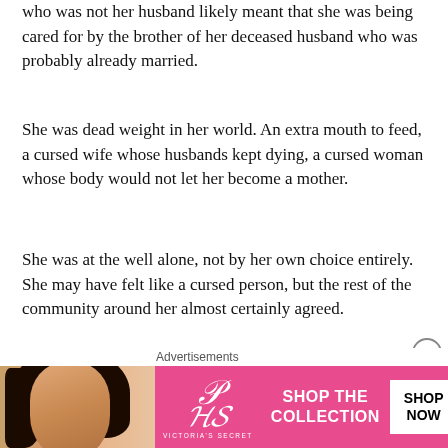who was not her husband likely meant that she was being cared for by the brother of her deceased husband who was probably already married.
She was dead weight in her world. An extra mouth to feed, a cursed wife whose husbands kept dying, a cursed woman whose body would not let her become a mother.
She was at the well alone, not by her own choice entirely. She may have felt like a cursed person, but the rest of the community around her almost certainly agreed.
Sounds familiar these days doesn't it.
Cough and people stare at you with distain and fear. Happen to have some toilet paper from a shopping trip a week ago in
Advertisements
[Figure (other): Victoria's Secret advertisement banner with a woman model, VS logo, 'SHOP THE COLLECTION' text, and 'SHOP NOW' button on a pink background.]